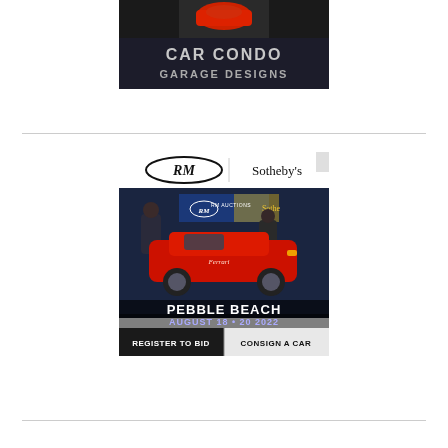[Figure (advertisement): Car Condo Garage Designs advertisement showing a red Ferrari in a dark garage setting with the text 'CAR CONDO GARAGE DESIGNS' in silver/chrome lettering]
[Figure (advertisement): RM Sotheby's advertisement for Pebble Beach auction August 18-20 2022, showing two people polishing a red classic Ferrari race car in front of RM Auctions banner, with text 'PEBBLE BEACH', 'AUGUST 18 - 20 2022', 'REGISTER TO BID', 'CONSIGN A CAR']